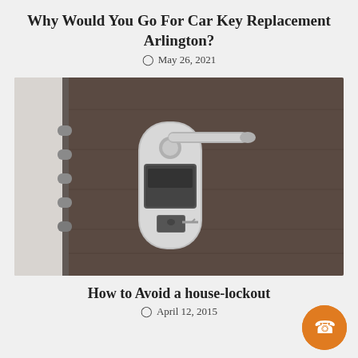Why Would You Go For Car Key Replacement Arlington?
May 26, 2021
[Figure (photo): Close-up photo of a modern door lock with a silver lever handle, electronic keypad, and key slot, with multiple deadbolt pins visible on the left side of a dark wooden door]
How to Avoid a house-lockout
April 12, 2015